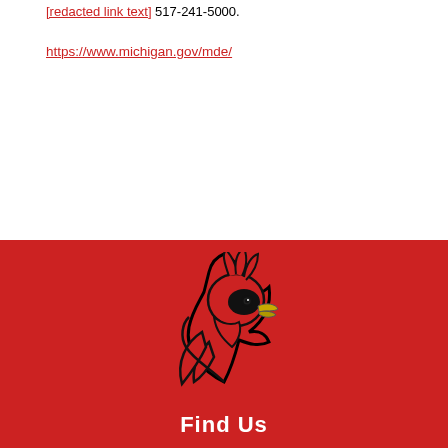517-241-5000.
https://www.michigan.gov/mde/
[Figure (logo): Cardinal mascot head logo — stylized red cardinal bird facing right with black outline and yellow beak, on a red background]
Find Us